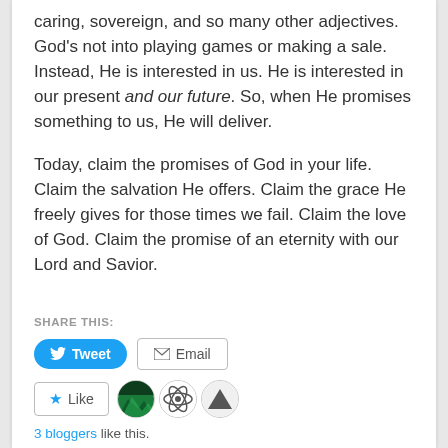caring, sovereign, and so many other adjectives. God's not into playing games or making a sale. Instead, He is interested in us. He is interested in our present and our future. So, when He promises something to us, He will deliver.
Today, claim the promises of God in your life. Claim the salvation He offers. Claim the grace He freely gives for those times we fail. Claim the love of God. Claim the promise of an eternity with our Lord and Savior.
SHARE THIS:
[Figure (screenshot): Tweet and Email social sharing buttons, followed by a Like button with 3 blogger avatar icons, and '3 bloggers like this.' text below.]